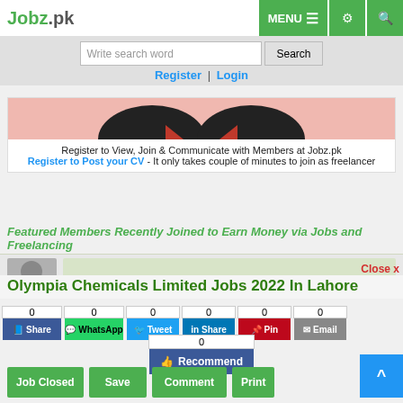Jobz.pk | MENU
Write search word | Search | Register | Login
[Figure (illustration): Profile image placeholder with pinkish background and partial face graphic]
Register to View, Join & Communicate with Members at Jobz.pk
Register to Post your CV - It only takes couple of minutes to join as freelancer
Featured Members Recently Joined to Earn Money via Jobs and Freelancing
[Figure (screenshot): Featured member thumbnail area - grey and light green background]
Close x
Olympia Chemicals Limited Jobs 2022 In Lahore
0 Share | 0 WhatsApp | 0 Tweet | 0 Share | 0 Pin | 0 Email
0 Recommend
Job Closed | Save | Comment | Print